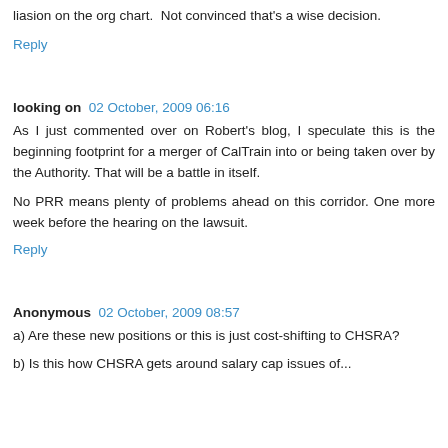liasion on the org chart. Not convinced that's a wise decision.
Reply
looking on  02 October, 2009 06:16
As I just commented over on Robert's blog, I speculate this is the beginning footprint for a merger of CalTrain into or being taken over by the Authority. That will be a battle in itself.
No PRR means plenty of problems ahead on this corridor. One more week before the hearing on the lawsuit.
Reply
Anonymous  02 October, 2009 08:57
a) Are these new positions or this is just cost-shifting to CHSRA?
b) Is this how CHSRA gets around salary cap issues of...